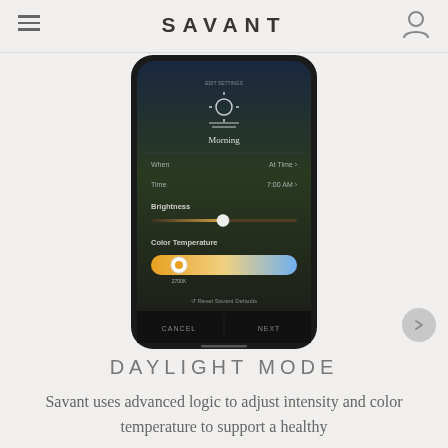SAVANT
[Figure (screenshot): Savant app screenshot on a smartphone showing Daylight Mode settings with Morning scene, When: At Time, Time: 7:00 AM, Brightness slider, Color Temperature slider (warm orange to cool blue), and Cancel/Next buttons]
DAYLIGHT MODE
Savant uses advanced logic to adjust intensity and color temperature to support a healthy